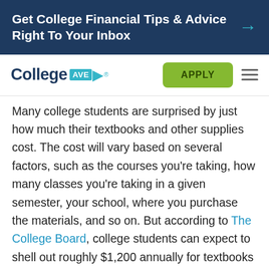Get College Financial Tips & Advice Right To Your Inbox
[Figure (logo): College AVE student loans logo with teal arrow and green APPLY button and hamburger menu]
Many college students are surprised by just how much their textbooks and other supplies cost. The cost will vary based on several factors, such as the courses you're taking, how many classes you're taking in a given semester, your school, where you purchase the materials, and so on. But according to The College Board, college students can expect to shell out roughly $1,200 annually for textbooks and course materials. A single textbook can easily set you back a few hundred dollars. Some professors publish their syllabuses well in advance, which can